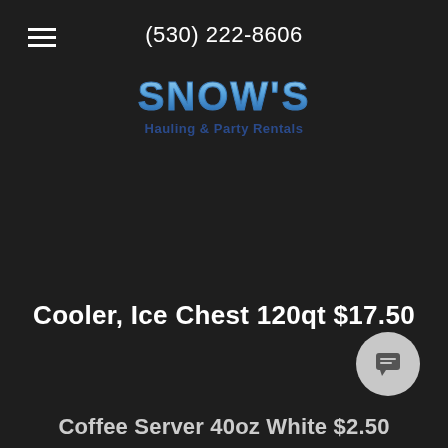(530) 222-8606
[Figure (logo): Snow's Hauling & Party Rentals logo with icy blue lettered SNOW'S text and subtitle in dark blue]
Cooler, Ice Chest 120qt $17.50
Coffee Server 40oz White $2.50